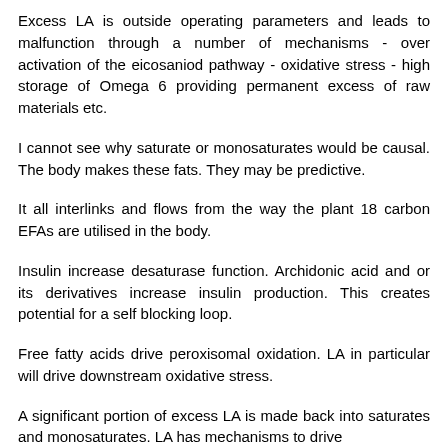Excess LA is outside operating parameters and leads to malfunction through a number of mechanisms - over activation of the eicosaniod pathway - oxidative stress - high storage of Omega 6 providing permanent excess of raw materials etc.
I cannot see why saturate or monosaturates would be causal. The body makes these fats. They may be predictive.
It all interlinks and flows from the way the plant 18 carbon EFAs are utilised in the body.
Insulin increase desaturase function. Archidonic acid and or its derivatives increase insulin production. This creates potential for a self blocking loop.
Free fatty acids drive peroxisomal oxidation. LA in particular will drive downstream oxidative stress.
A significant portion of excess LA is made back into saturates and monosaturates. LA has mechanisms to drive